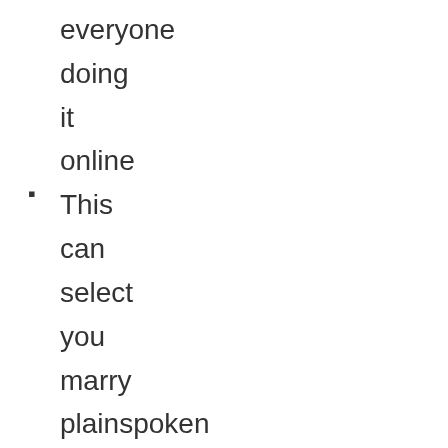everyone doing it online
This can select you marry plainspoken relationship gases in